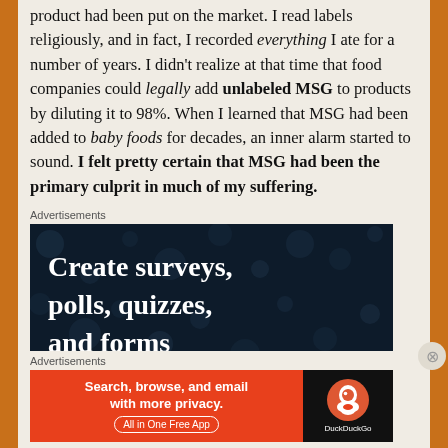product had been put on the market. I read labels religiously, and in fact, I recorded everything I ate for a number of years. I didn't realize at that time that food companies could legally add unlabeled MSG to products by diluting it to 98%. When I learned that MSG had been added to baby foods for decades, an inner alarm started to sound. I felt pretty certain that MSG had been the primary culprit in much of my suffering.
Advertisements
[Figure (other): Advertisement banner with dark navy background and white bold text reading 'Create surveys, polls, quizzes, and forms' with decorative dot pattern]
Advertisements
[Figure (other): DuckDuckGo advertisement with orange background on left saying 'Search, browse, and email with more privacy. All in One Free App' and dark background on right with DuckDuckGo duck logo and name]